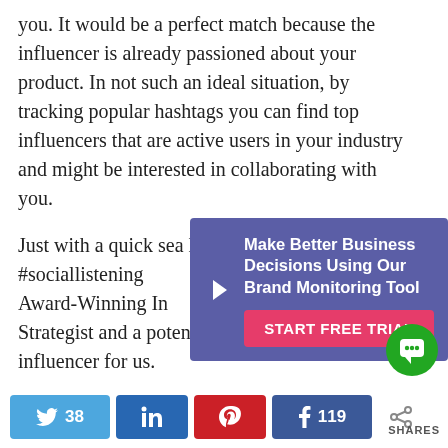you. It would be a perfect match because the influencer is already passioned about your product. In not such an ideal situation, by tracking popular hashtags you can find top influencers that are active users in your industry and might be interested in collaborating with you.
Just with a quick sea[rch for popular hashtags] like #sociallistening[...] Award-Winning In[fluencer] Strategist and a potential influencer for us.
[Figure (infographic): Popup advertisement: 'Make Better Business Decisions Using Our Brand Monitoring Tool' with a 'START FREE TRIAL' button on pink/red background, over purple background with arrow icon.]
[Figure (other): Green circular chat/support button icon in bottom right area.]
38   in   [pinterest icon]   f 119   [share icon]   SHARES